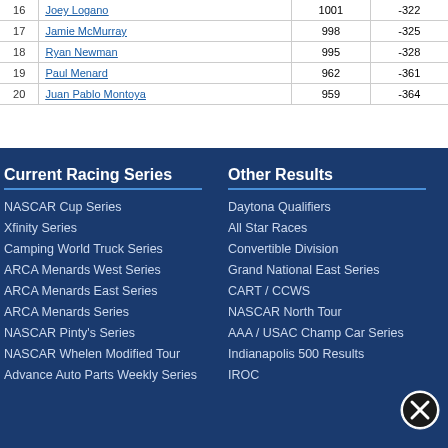| 16 | Joey Logano | 1001 | -322 |
| 17 | Jamie McMurray | 998 | -325 |
| 18 | Ryan Newman | 995 | -328 |
| 19 | Paul Menard | 962 | -361 |
| 20 | Juan Pablo Montoya | 959 | -364 |
Current Racing Series
Other Results
NASCAR Cup Series
Xfinity Series
Camping World Truck Series
ARCA Menards West Series
ARCA Menards East Series
ARCA Menards Series
NASCAR Pinty's Series
NASCAR Whelen Modified Tour
Advance Auto Parts Weekly Series
Daytona Qualifiers
All Star Races
Convertible Division
Grand National East Series
CART / CCWS
NASCAR North Tour
AAA / USAC Champ Car Series
Indianapolis 500 Results
IROC